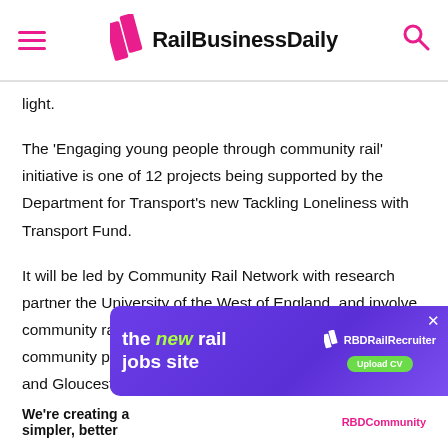RailBusinessDaily
light.
The ‘Engaging young people through community rail’ initiative is one of 12 projects being supported by the Department for Transport’s new Tackling Loneliness with Transport Fund.
It will be led by Community Rail Network with research partner the University of the West of England, and involve community rail partnerships and other youth and community partners running three pilot schemes in Bristol and Gloucester, Blackburn with Darwen, and Newcastle and County Durham.
[Figure (infographic): Advertisement banner: 'The new rail jobs site' with RBDRailRecruiter logo and Upload CV button on purple gradient background]
We’re creating a simpler, better